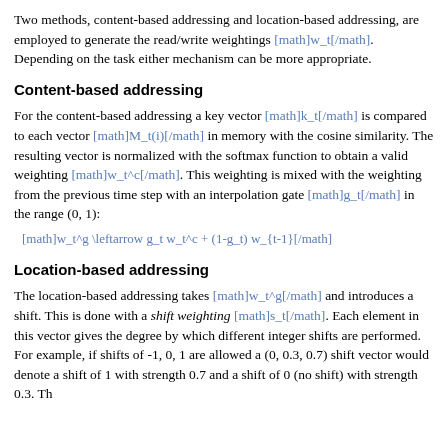Two methods, content-based addressing and location-based addressing, are employed to generate the read/write weightings [math]w_t[/math]. Depending on the task either mechanism can be more appropriate.
Content-based addressing
For the content-based addressing a key vector [math]k_t[/math] is compared to each vector [math]M_t(i)[/math] in memory with the cosine similarity. The resulting vector is normalized with the softmax function to obtain a valid weighting [math]w_t^c[/math]. This weighting is mixed with the weighting from the previous time step with an interpolation gate [math]g_t[/math] in the range (0, 1):
Location-based addressing
The location-based addressing takes [math]w_t^g[/math] and introduces a shift. This is done with a shift weighting [math]s_t[/math]. Each element in this vector gives the degree by which different integer shifts are performed. For example, if shifts of -1, 0, 1 are allowed a (0, 0.3, 0.7) shift vector would denote a shift of 1 with strength 0.7 and a shift of 0 (no shift) with strength 0.3. The